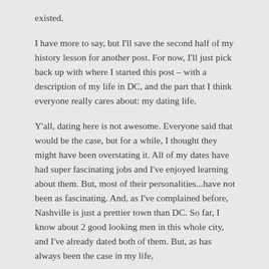existed.
I have more to say, but I'll save the second half of my history lesson for another post. For now, I'll just pick back up with where I started this post – with a description of my life in DC, and the part that I think everyone really cares about: my dating life.
Y'all, dating here is not awesome. Everyone said that would be the case, but for a while, I thought they might have been overstating it. All of my dates have had super fascinating jobs and I've enjoyed learning about them. But, most of their personalities...have not been as fascinating. And, as I've complained before, Nashville is just a prettier town than DC. So far, I know about 2 good looking men in this whole city, and I've already dated both of them. But, as has always been the case in my life,